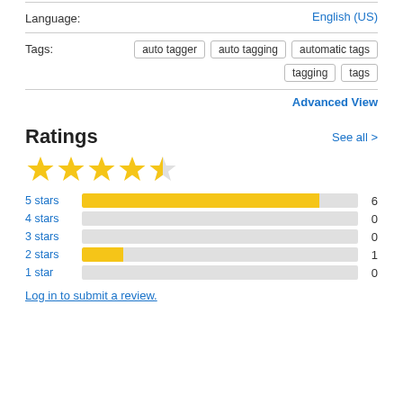Language: English (US)
Tags: auto tagger  auto tagging  automatic tags  tagging  tags
Advanced View
Ratings
See all >
[Figure (bar-chart): Ratings breakdown]
Log in to submit a review.